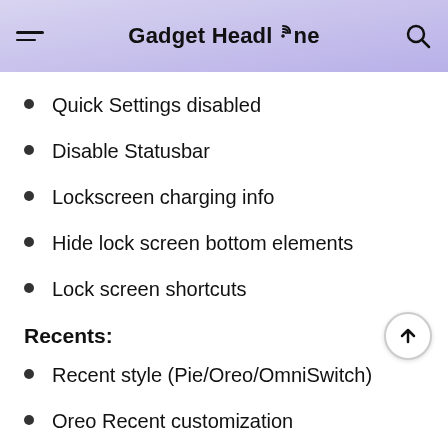Gadget Headline
Quick Settings disabled
Disable Statusbar
Lockscreen charging info
Hide lock screen bottom elements
Lock screen shortcuts
Recents:
Recent style (Pie/Oreo/OmniSwitch)
Oreo Recent customization
Clear all button